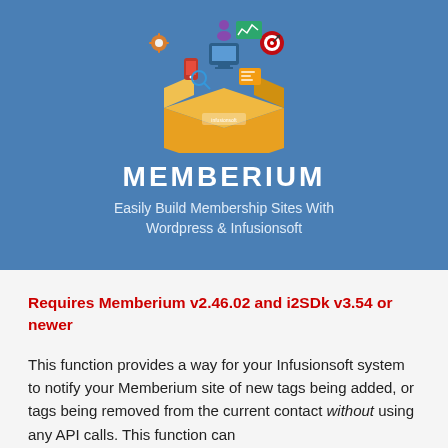[Figure (illustration): Memberium plugin banner: blue background with an open cardboard box overflowing with digital marketing icons and tools (computer, phone, charts, target, settings), with the text MEMBERIUM in large white bold letters and the tagline 'Easily Build Membership Sites With Wordpress & Infusionsoft' beneath.]
Requires Memberium v2.46.02 and i2SDk v3.54 or newer
This function provides a way for your Infusionsoft system to notify your Memberium site of new tags being added, or tags being removed from the current contact without using any API calls. This function can